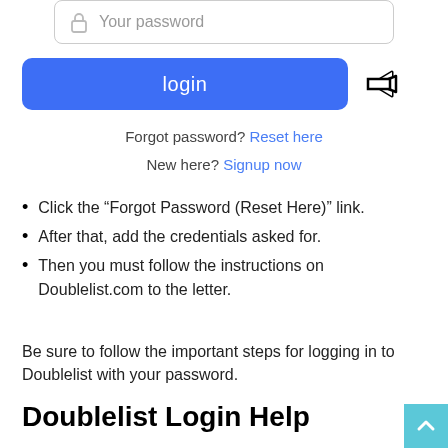[Figure (screenshot): Password input field with lock icon and placeholder text 'Your password']
[Figure (screenshot): Blue login button with text 'login' and a black outlined arrow icon pointing left]
Forgot password? Reset here
New here? Signup now
Click the “Forgot Password (Reset Here)” link.
After that, add the credentials asked for.
Then you must follow the instructions on Doublelist.com to the letter.
Be sure to follow the important steps for logging in to Doublelist with your password.
Doublelist Login Help